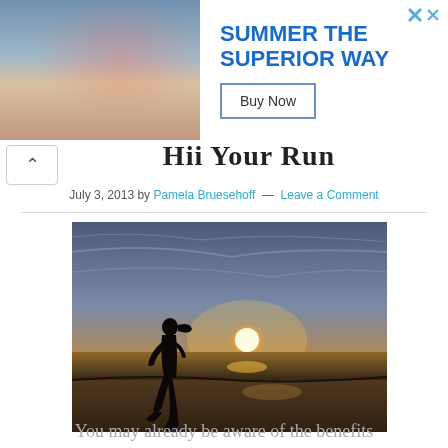[Figure (photo): Advertisement banner showing people at outdoor bar/restaurant on left, with text 'SUMMER THE SUPERIOR WAY' and 'Buy Now' button on white background on right]
Hii Your Run
July 3, 2013 by Pamela Bruesehoff — Leave a Comment
[Figure (photo): Silhouette of a person running on a beach at sunset, with dramatic sky and sun reflecting on the water]
You may already be aware of the benefits